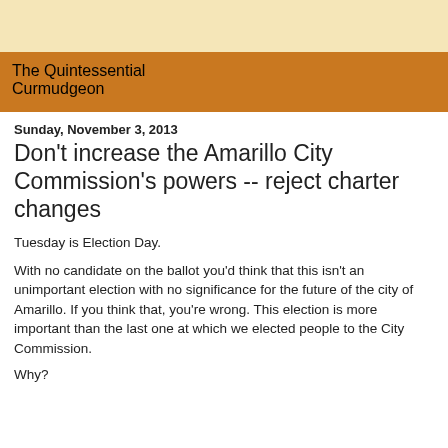The Quintessential Curmudgeon
Sunday, November 3, 2013
Don't increase the Amarillo City Commission's powers -- reject charter changes
Tuesday is Election Day.
With no candidate on the ballot you'd think that this isn't an unimportant election with no significance for the future of the city of Amarillo. If you think that, you're wrong. This election is more important than the last one at which we elected people to the City Commission.
Why?